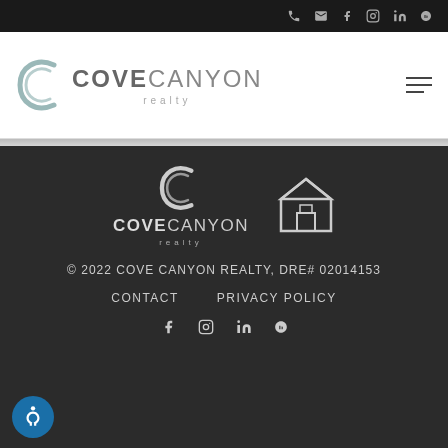Top navigation bar with social/contact icons: phone, email, facebook, instagram, linkedin, yelp
[Figure (logo): Cove Canyon Realty logo with stylized C icon and company name]
[Figure (logo): Cove Canyon Realty footer logo (white version) and Equal Housing Opportunity logo]
© 2022 COVE CANYON REALTY, DRE# 02014153
CONTACT   PRIVACY POLICY
Social icons: facebook, instagram, linkedin, yelp